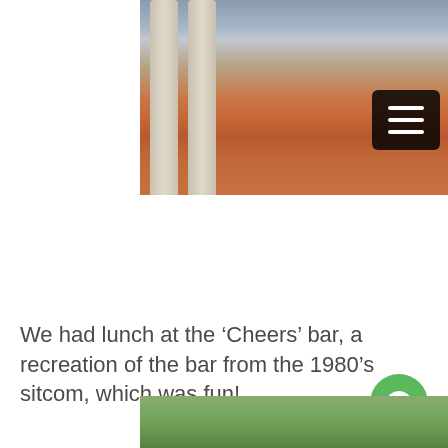[Figure (photo): Outdoor photo of people sitting and standing on a red brick plaza in front of a building with large stone columns and an American flag. A man in a light blue shirt and dark pants walks in the foreground. A hamburger menu button overlay appears in the upper right of the image.]
We had lunch at the ‘Cheers’ bar, a recreation of the bar from the 1980’s sitcom, which was fun!
[Figure (photo): Partial photo visible at bottom showing trees and power lines against a light sky.]